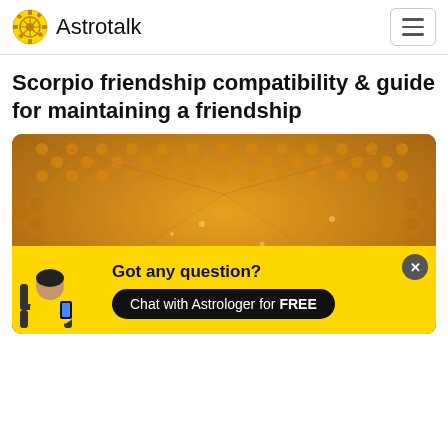Astrotalk
Scorpio friendship compatibility & guide for maintaining a friendship
[Figure (photo): Three young women sitting together and laughing in a room lined with orange/yellow egg crate foam walls and ceiling, giving a surreal tunnel-like perspective.]
[Figure (infographic): Yellow chat banner with illustrated woman sitting in a chair using a phone, text reading 'Got any question?' and a button 'Chat with Astrologer for FREE']